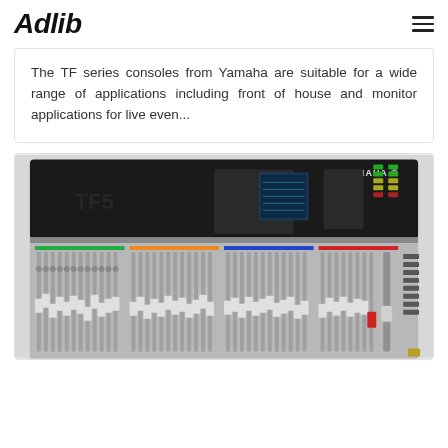Adlib
The TF series consoles from Yamaha are suitable for a wide range of applications including front of house and monitor applications for live even...
[Figure (photo): A Yamaha TF5 digital mixing console viewed from above, showing the full-width fader bank, channel strips with multicolored labels, a central touchscreen display, and the YAMAHA logo on the top panel.]